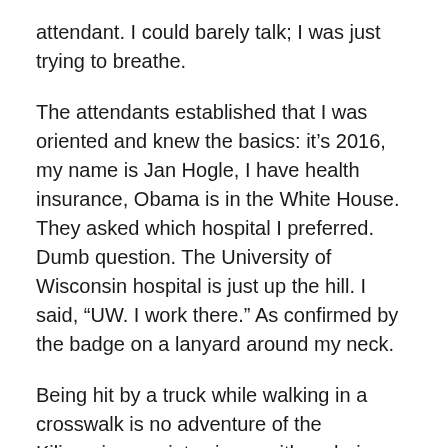attendant. I could barely talk; I was just trying to breathe.
The attendants established that I was oriented and knew the basics: it’s 2016, my name is Jan Hogle, I have health insurance, Obama is in the White House. They asked which hospital I preferred. Dumb question. The University of Wisconsin hospital is just up the hill. I said, “UW. I work there.” As confirmed by the badge on a lanyard around my neck.
Being hit by a truck while walking in a crosswalk is no adventure of the Kilimanjaro variety since neither choice nor a helmet is involved. One fraction of a second and life careens off in an unexpected direction, leaving time to think about my upcoming retirement which I had announced a few weeks previously. Time to move, again. But right now, I can’t move without pain.